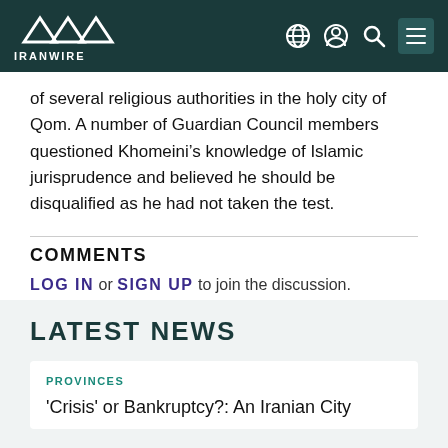IRANWIRE
of several religious authorities in the holy city of Qom. A number of Guardian Council members questioned Khomeini’s knowledge of Islamic jurisprudence and believed he should be disqualified as he had not taken the test.
COMMENTS
LOG IN or SIGN UP to join the discussion.
LATEST NEWS
PROVINCES
'Crisis' or Bankruptcy?: An Iranian City